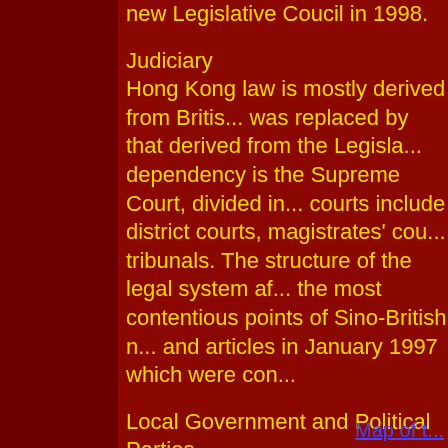new Legislative Coucil in 1998.
Judiciary
Hong Kong law is mostly derived from British law and was replaced by that derived from the Legislative Council in the dependency is the Supreme Court, divided into courts include district courts, magistrates' courts, and tribunals. The structure of the legal system after one of the most contentious points of Sino-British negotiations and articles in January 1997 which were concluded.
Local Government and Political Parties
Elected municipal councils, the Urban Council (for the New Territories), administer local matters, partly appointed. There are also consultative district boards. Hong Kong after the introduction of direct elections in 1990, was the United Democrats of Hong Kong. The future of these groupings under Chinese rule. The government of China are the Democratic Alliance and Liberal Party.
Map of t…